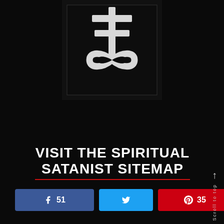[Figure (illustration): Leviathan Cross / Sulfur symbol in white on black background, inside a dark square frame]
VISIT THE SPIRITUAL SATANIST SITEMAP
Share buttons: Facebook 51, Twitter, Pinterest 35, 86 SHARES
Scroll to top